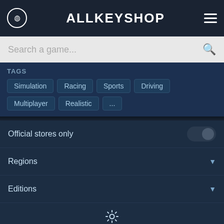ALLKEYSHOP
Search a game...
TAGS
Simulation
Racing
Sports
Driving
Multiplayer
Realistic
...
Official stores only
Regions
Editions
[Figure (other): Settings gear icon row]
Fees
Kinguin ★★★★☆ Standard
-10% AKS10
Help